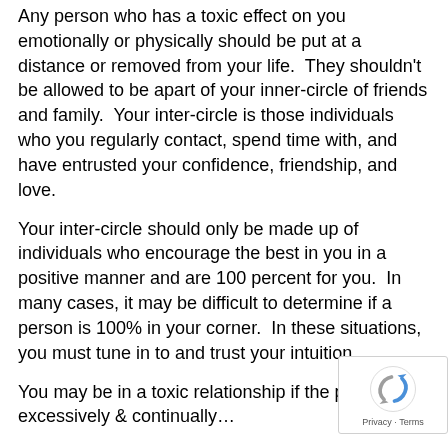Any person who has a toxic effect on you emotionally or physically should be put at a distance or removed from your life.  They shouldn't be allowed to be apart of your inner-circle of friends and family.  Your inter-circle is those individuals who you regularly contact, spend time with, and have entrusted your confidence, friendship, and love.
Your inter-circle should only be made up of individuals who encourage the best in you in a positive manner and are 100 percent for you.  In many cases, it may be difficult to determine if a person is 100% in your corner.  In these situations, you must tune in to and trust your intuition.
You may be in a toxic relationship if the person excessively & continually…
Abuses you emotionally or physically to any